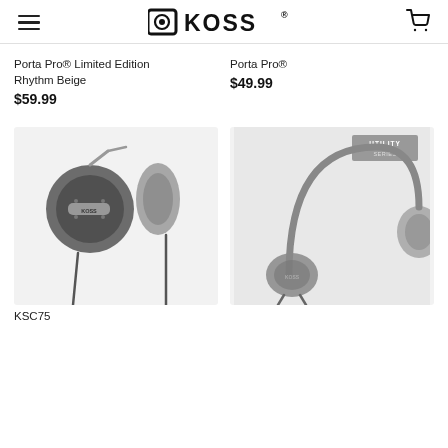KOSS
Porta Pro® Limited Edition Rhythm Beige
$59.99
Porta Pro®
$49.99
[Figure (photo): KSC75 Koss ear clip headphones shown front and side view on light grey background]
[Figure (photo): Koss utility series lightweight on-ear headphones on grey background with Utility Series badge]
KSC75